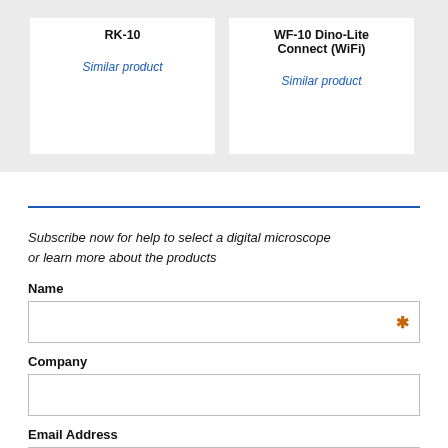RK-10
Similar product
WF-10 Dino-Lite Connect (WiFi)
Similar product
Subscribe now for help to select a digital microscope or learn more about the products
Name
Company
Email Address